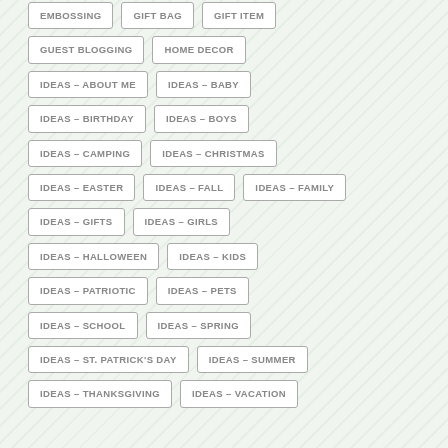EMBOSSING
GIFT BAG
GIFT ITEM
GUEST BLOGGING
HOME DECOR
IDEAS – ABOUT ME
IDEAS – BABY
IDEAS – BIRTHDAY
IDEAS – BOYS
IDEAS – CAMPING
IDEAS – CHRISTMAS
IDEAS – EASTER
IDEAS – FALL
IDEAS – FAMILY
IDEAS – GIFTS
IDEAS – GIRLS
IDEAS – HALLOWEEN
IDEAS – KIDS
IDEAS – PATRIOTIC
IDEAS – PETS
IDEAS – SCHOOL
IDEAS – SPRING
IDEAS – ST. PATRICK'S DAY
IDEAS – SUMMER
IDEAS – THANKSGIVING
IDEAS – VACATION